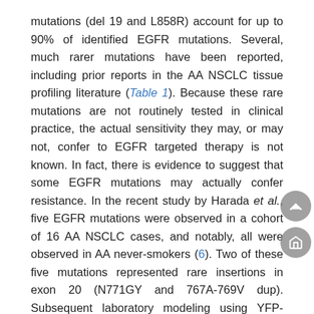mutations (del 19 and L858R) account for up to 90% of identified EGFR mutations. Several, much rarer mutations have been reported, including prior reports in the AA NSCLC tissue profiling literature (Table 1). Because these rare mutations are not routinely tested in clinical practice, the actual sensitivity they may, or may not, confer to EGFR targeted therapy is not known. In fact, there is evidence to suggest that some EGFR mutations may actually confer resistance. In the recent study by Harada et al., five EGFR mutations were observed in a cohort of 16 AA NSCLC cases, and notably, all were observed in AA never-smokers (6). Two of these five mutations represented rare insertions in exon 20 (N771GY and 767A-769V dup). Subsequent laboratory modeling using YFP-tagged MCF-7 cells expressing these mutations actually showed increased resistance to erlotinib in vitro, which may open an intriguing line of future investigation surrounding mechanisms of proclivity to rare variant EGFR mutations in specific population groups.